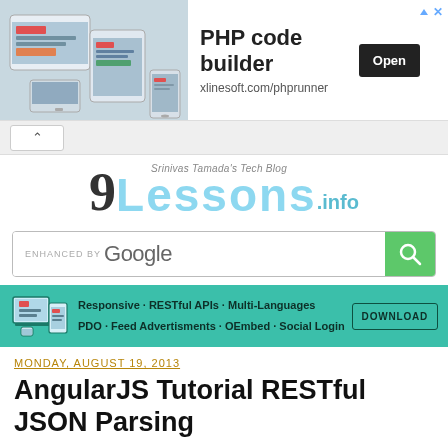[Figure (infographic): Advertisement banner for PHP code builder by xlinesoft.com/phprunner with an 'Open' button and a photo of tablets/devices on left]
PHP code builder
xlinesoft.com/phprunner
[Figure (infographic): Collapse/hide arrow button bar]
[Figure (logo): 9Lessons.info logo - Srinivas Tamada's Tech Blog]
ENHANCED BY Google
[Figure (infographic): Teal promotional bar: Responsive · RESTful APIs · Multi-Languages · PDO · Feed Advertisments · OEmbed · Social Login with DOWNLOAD button]
MONDAY, AUGUST 19, 2013
AngularJS Tutorial RESTful JSON Parsing
ANGULARJS
HTML5
JAVASCRIPT
JSON
RESTFUL